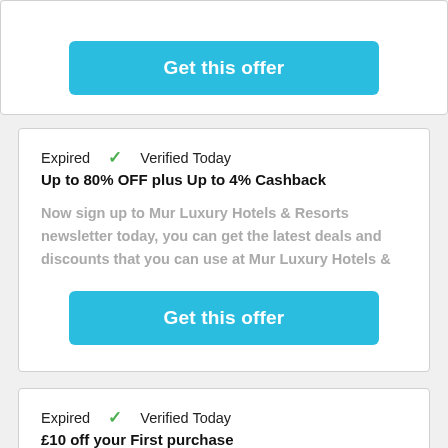[Figure (other): Get this offer button (top card, partially visible)]
Expired  ✓  Verified Today
Up to 80% OFF plus Up to 4% Cashback
Now sign up to Mur Luxury Hotels & Resorts newsletter today, you can get the latest deals and discounts that you can use at Mur Luxury Hotels &
[Figure (other): Get this offer button (second card)]
Expired  ✓  Verified Today
£10 off your First purchase